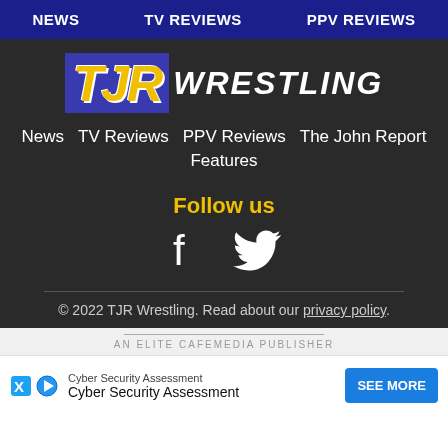NEWS | TV REVIEWS | PPV REVIEWS
[Figure (logo): TJR Wrestling logo with yellow TJR letters and white WRESTLING text on dark blue background]
News
TV Reviews
PPV Reviews
The John Report
Features
Follow us
[Figure (illustration): Facebook and Twitter social media icons in white]
© 2022 TJR Wrestling. Read about our privacy policy.
AN ELITE CAFEMEDIA PUBLISHER
Cyber Security Assessment Cyber Security Assessment SEE MORE